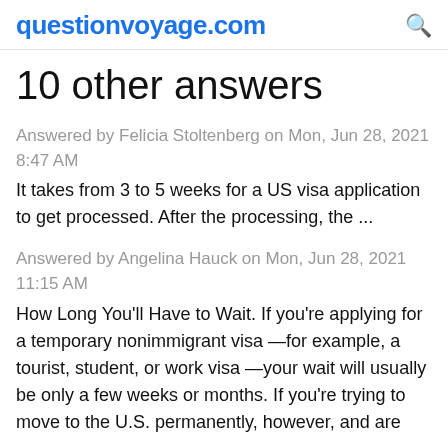questionvoyage.com
10 other answers
Answered by Felicia Stoltenberg on Mon, Jun 28, 2021 8:47 AM
It takes from 3 to 5 weeks for a US visa application to get processed. After the processing, the ...
Answered by Angelina Hauck on Mon, Jun 28, 2021 11:15 AM
How Long You'll Have to Wait. If you're applying for a temporary nonimmigrant visa —for example, a tourist, student, or work visa —your wait will usually be only a few weeks or months. If you're trying to move to the U.S. permanently, however, and are